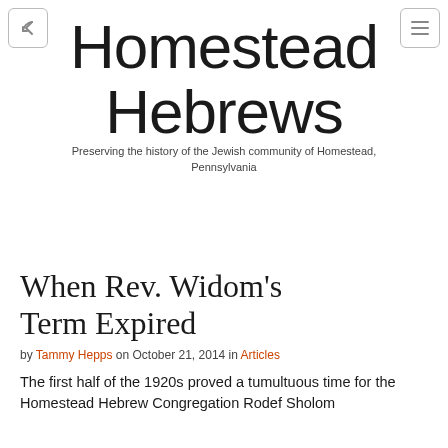Homestead Hebrews
Preserving the history of the Jewish community of Homestead, Pennsylvania
When Rev. Widom's Term Expired
by Tammy Hepps on October 21, 2014 in Articles
The first half of the 1920s proved a tumultuous time for the Homestead Hebrew Congregation Rodef Sholom